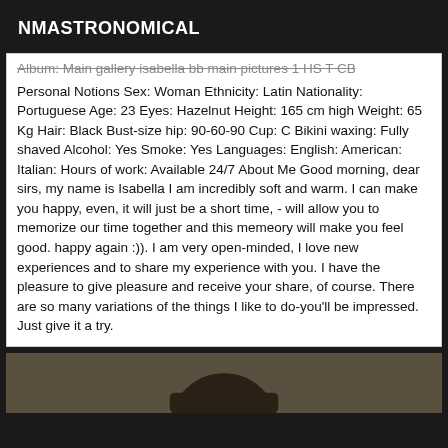NMASTRONOMICAL
Album: Main gallery isabella bb main pictures 1 HS T CB Personal Notions Sex: Woman Ethnicity: Latin Nationality: Portuguese Age: 23 Eyes: Hazelnut Height: 165 cm high Weight: 65 Kg Hair: Black Bust-size hip: 90-60-90 Cup: C Bikini waxing: Fully shaved Alcohol: Yes Smoke: Yes Languages: English: American: Italian: Hours of work: Available 24/7 About Me Good morning, dear sirs, my name is Isabella I am incredibly soft and warm. I can make you happy, even, it will just be a short time, - will allow you to memorize our time together and this memeory will make you feel good. happy again :)). I am very open-minded, I love new experiences and to share my experience with you. I have the pleasure to give pleasure and receive your share, of course. There are so many variations of the things I like to do-you'll be impressed. Just give it a try.
[Figure (photo): Partial photo visible at bottom of page showing a person]